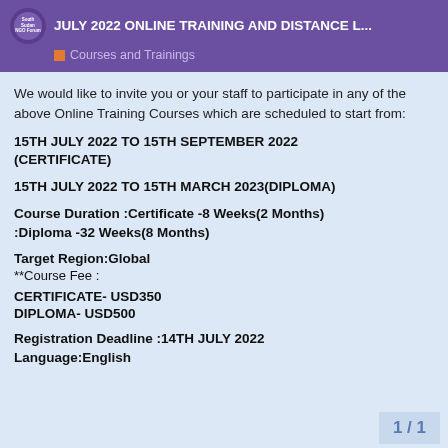JULY 2022 ONLINE TRAINING AND DISTANCE L... | Courses and Trainings
We would like to invite you or your staff to participate in any of the above Online Training Courses which are scheduled to start from:
15TH JULY 2022 TO 15TH SEPTEMBER 2022 (CERTIFICATE)
15TH JULY 2022 TO 15TH MARCH 2023(DIPLOMA)
Course Duration :Certificate -8 Weeks(2 Months) :Diploma -32 Weeks(8 Months)
Target Region:Global
**Course Fee :
CERTIFICATE- USD350
DIPLOMA- USD500
Registration Deadline :14TH JULY 2022
Language:English
1 / 1